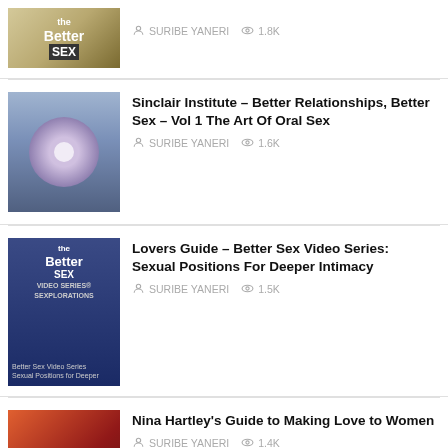[Figure (screenshot): Thumbnail for Better Sex video]
SURIBE YANERI   1.8K
[Figure (screenshot): Thumbnail for Sinclair Institute Better Sex DVD]
Sinclair Institute – Better Relationships, Better Sex – Vol 1 The Art Of Oral Sex
SURIBE YANERI   1.6K
[Figure (screenshot): Thumbnail for Lovers Guide Better Sex Video Series]
Lovers Guide – Better Sex Video Series: Sexual Positions For Deeper Intimacy
SURIBE YANERI   1.5K
[Figure (screenshot): Thumbnail for Nina Hartley's Guide to Making Love to Women]
Nina Hartley's Guide to Making Love to Women
SURIBE YANERI   1.4K